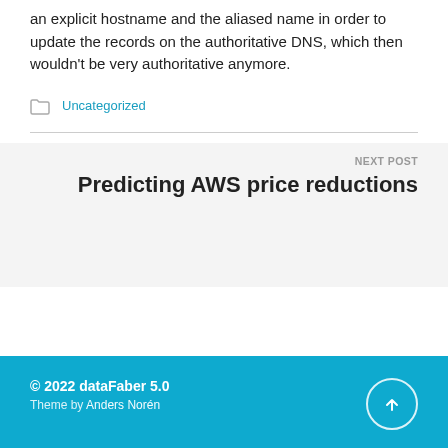an explicit hostname and the aliased name in order to update the records on the authoritative DNS, which then wouldn't be very authoritative anymore.
Uncategorized
NEXT POST
Predicting AWS price reductions
© 2022 dataFaber 5.0
Theme by Anders Norén